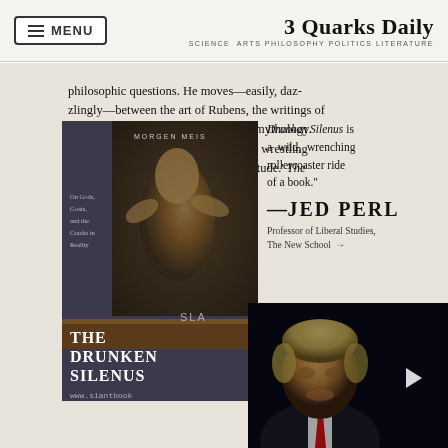3 Quarks Daily — SCIENCE ARTS PHILOSOPHY POLITICS LITERATURE
On Gods, Goats, and the Cracks in Reality
philosophic questions. He moves—easily, dazzlingly—between the art of Rubens, the writings of Nietzsche, and the enigmas of Greek mythology. Everywhere he turns, he finds himself wrestling with what he calls 'the troubles of finitude.' The Drunken Silenus is a wild, wrenching rollercoaster ride of a book.
—JED PERL
Professor of Liberal Studies, The New School
[Figure (photo): Book cover of The Drunken Silenus by Morgen Meis, showing a Rubens painting of figures, with subtitle 'On Gods, Goats, and the Cracks in Reality'. Website www.slantbook shown at bottom.]
[Figure (screenshot): Video overlay showing a person (Donald Trump) speaking, with a play button on the right side.]